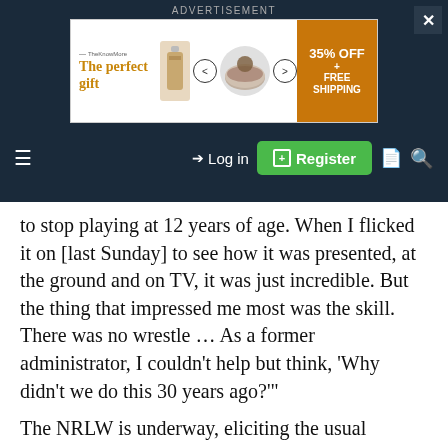[Figure (screenshot): Advertisement banner for 'The perfect gift' with kitchen/food imagery, navigation arrows, and orange '35% OFF + FREE SHIPPING' box]
ADVERTISEMENT
[Figure (screenshot): Navigation bar with hamburger menu, Log in link, green Register button, document icon, and search icon]
to stop playing at 12 years of age. When I flicked it on [last Sunday] to see how it was presented, at the ground and on TV, it was just incredible. But the thing that impressed me most was the skill. There was no wrestle … As a former administrator, I couldn't help but think, 'Why didn't we do this 30 years ago?'"
The NRLW is underway, eliciting the usual spectrum of emotions whenever women play traditional male sports, especially the football codes. Debates about equal pay, or just more pay, dominate discussion. The outright hostility demonstrated by one side, and the lack of perspective on the other, helps nobody.